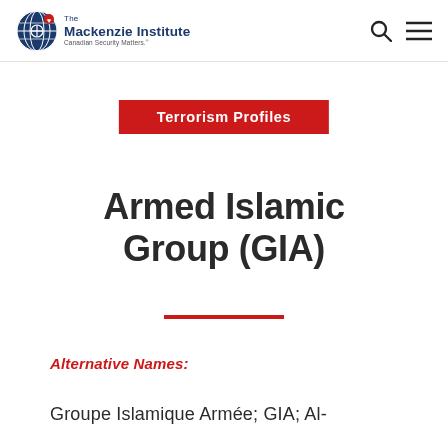The Mackenzie Institute — Canadian Security Matters.
Terrorism Profiles
Armed Islamic Group (GIA)
Alternative Names:
Groupe Islamique Armée; GIA; Al-